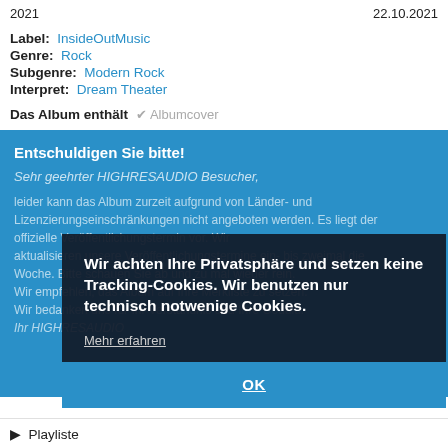2021    22.10.2021
Label: InsideOutMusic
Genre: Rock
Subgenre: Modern Rock
Interpret: Dream Theater
Das Album enthält ✔ Albumcover
Entschuldigen Sie bitte!
Sehr geehrter HIGHRESAUDIO Besucher,
leider kann das Album zurzeit aufgrund von Länder- und Lizenzierungseinschränkungen nicht angeboten werden. Es liegt der offizielle Veröffentlichungstermin vor. Wir aktualisieren unsere Veröffentlichungstermine ein- bis zweimal die Woche. Bitte schauen Sie ab und zu mal wieder rein. Wir empfehlen, das Album auf Ihre Merkliste zu setzen. Wir bedanken uns für Ihr Verständnis und Ihre Geduld. Ihr HIGHRESAUDIO
Wir achten Ihre Privatsphäre und setzen keine Tracking-Cookies. Wir benutzen nur technisch notwenige Cookies.
Mehr erfahren
OK
▶ Playliste